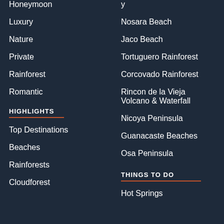Honeymoon
Nosara Beach
Luxury
Jaco Beach
Nature
Tortuguero Rainforest
Private
Corcovado Rainforest
Rainforest
Rincon de la Vieja Volcano & Waterfall
Romantic
Nicoya Peninsula
HIGHLIGHTS
Guanacaste Beaches
Top Destinations
Osa Peninsula
Beaches
THINGS TO DO
Rainforests
Hot Springs
Cloudforest